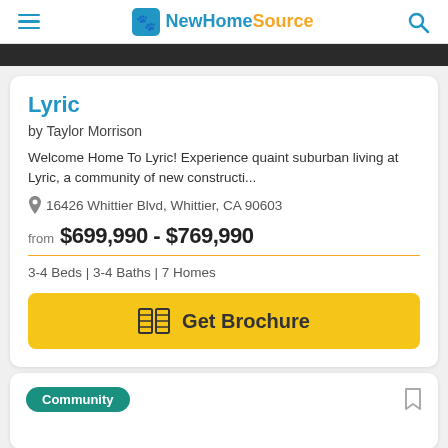NewHomeSource
Lyric
by Taylor Morrison
Welcome Home To Lyric! Experience quaint suburban living at Lyric, a community of new constructi...
16426 Whittier Blvd, Whittier, CA 90603
from $699,990 - $769,990
3-4 Beds | 3-4 Baths | 7 Homes
Get Brochure
Community